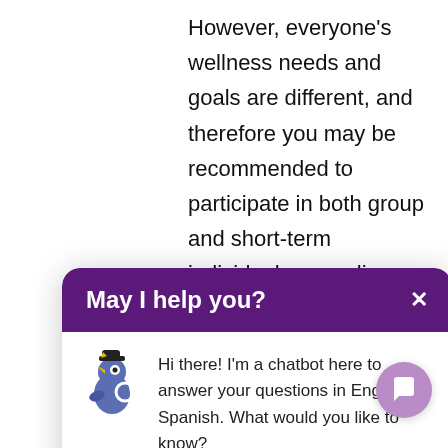However, everyone's wellness needs and goals are different, and therefore you may be recommended to participate in both group and short-term individual counseling. You may also participate in group counseling being a … you do … will … als
[Figure (screenshot): Chatbot popup overlay with purple header 'May I help you?' and a close X button, body containing a bird chatbot avatar and message: 'Hi there! I'm a chatbot here to answer your questions in English or Spanish. What would you like to know?']
individual and group